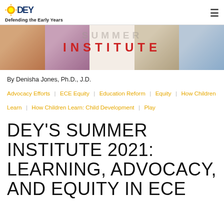[Figure (logo): DEY (Defending the Early Years) logo with sun icon and tagline 'Defending the Early Years']
[Figure (photo): Banner image showing a strip of five children's photos with 'SUMMER INSTITUTE' text overlay in red and gray]
By Denisha Jones, Ph.D., J.D.
Advocacy Efforts | ECE Equity | Education Reform | Equity | How Children Learn | How Children Learn: Child Development | Play
DEY'S SUMMER INSTITUTE 2021: LEARNING, ADVOCACY, AND EQUITY IN ECE